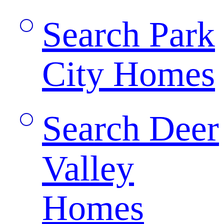Search Park City Homes
Search Deer Valley Homes